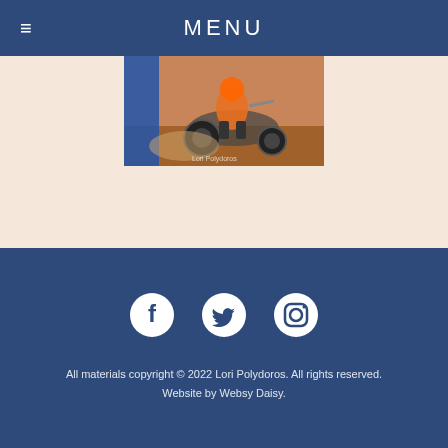MENU
[Figure (photo): Motocross rider on a dirt bike on a sandy/dusty track, with a blue element on the left side. Watermark reads 'Lori Polydoros'.]
All materials copyright © 2022 Lori Polydoros. All rights reserved. Website by Websy Daisy.